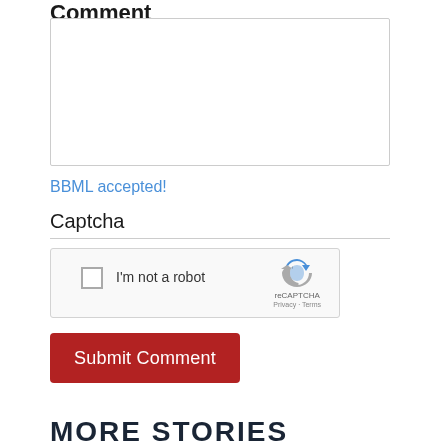Comment
[Figure (screenshot): Text area input field for comment submission]
BBML accepted!
Captcha
[Figure (screenshot): reCAPTCHA widget with 'I'm not a robot' checkbox]
Submit Comment
MORE STORIES